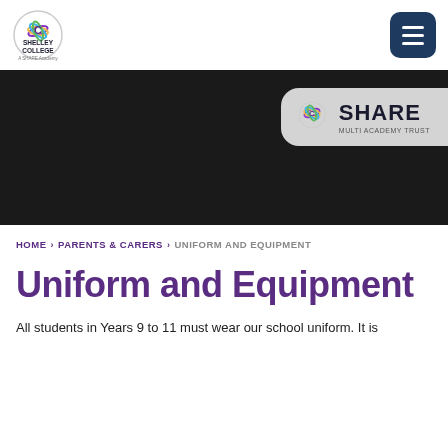[Figure (logo): Shelley College - A SHARE Academy circular logo with colourful swirl emblem]
[Figure (logo): SHARE Multi Academy Trust logo badge with colourful swirl emblem]
[Figure (photo): Dark hero banner image, nearly black, for Shelley College website]
HOME > PARENTS & CARERS > UNIFORM AND EQUIPMENT
Uniform and Equipment
All students in Years 9 to 11 must wear our school uniform. It is